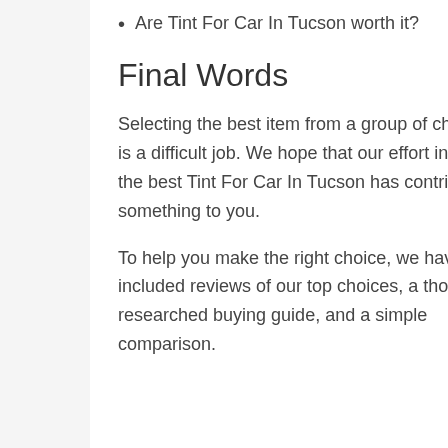Are Tint For Car In Tucson worth it?
Final Words
Selecting the best item from a group of choices is a difficult job. We hope that our effort in finding the best Tint For Car In Tucson has contributed something to you.
To help you make the right choice, we have included reviews of our top choices, a thoroughly researched buying guide, and a simple comparison.